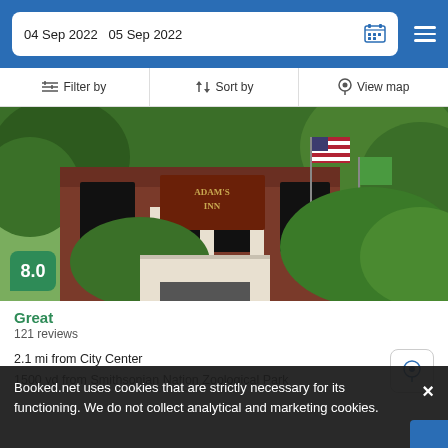04 Sep 2022  05 Sep 2022
Filter by  Sort by  View map
[Figure (photo): Exterior photo of Adam's Inn, a brick building with white columns, an American flag, and green foliage. A green score badge reading 8.0 is overlaid at the bottom left.]
Great
121 reviews
2.1 mi from City Center
1500 yd from Smithsonian Nation Zoological Park
Booked.net uses cookies that are strictly necessary for its functioning. We do not collect analytical and marketing cookies.